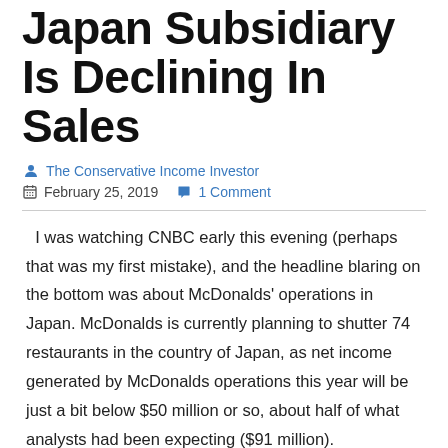Japan Subsidiary Is Declining In Sales
The Conservative Income Investor
February 25, 2019   1 Comment
I was watching CNBC early this evening (perhaps that was my first mistake), and the headline blaring on the bottom was about McDonalds' operations in Japan. McDonalds is currently planning to shutter 74 restaurants in the country of Japan, as net income generated by McDonalds operations this year will be just a bit below $50 million or so, about half of what analysts had been expecting ($91 million).